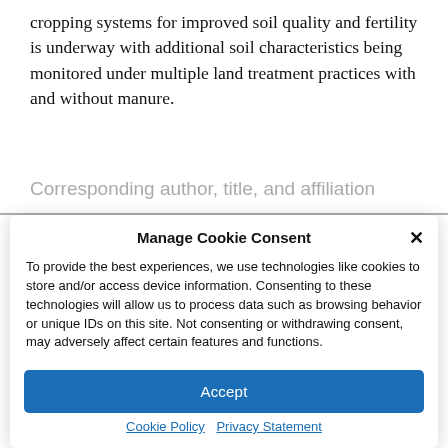cropping systems for improved soil quality and fertility is underway with additional soil characteristics being monitored under multiple land treatment practices with and without manure.
Corresponding author, title, and affiliation
Manage Cookie Consent
To provide the best experiences, we use technologies like cookies to store and/or access device information. Consenting to these technologies will allow us to process data such as browsing behavior or unique IDs on this site. Not consenting or withdrawing consent, may adversely affect certain features and functions.
Accept
Cookie Policy  Privacy Statement